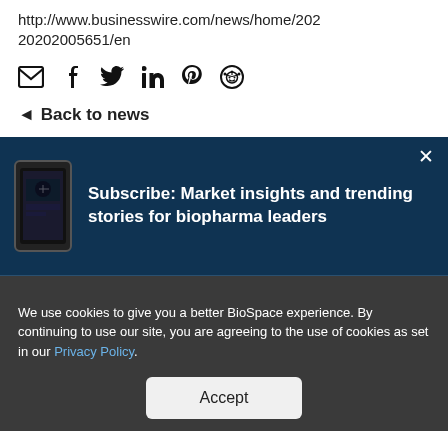http://www.businesswire.com/news/home/20220202005651/en
[Figure (infographic): Social sharing icons: email, Facebook, Twitter, LinkedIn, Pinterest, Reddit]
◄ Back to news
[Figure (infographic): Subscribe banner with phone graphic: Subscribe: Market insights and trending stories for biopharma leaders]
We use cookies to give you a better BioSpace experience. By continuing to use our site, you are agreeing to the use of cookies as set in our Privacy Policy.
Accept